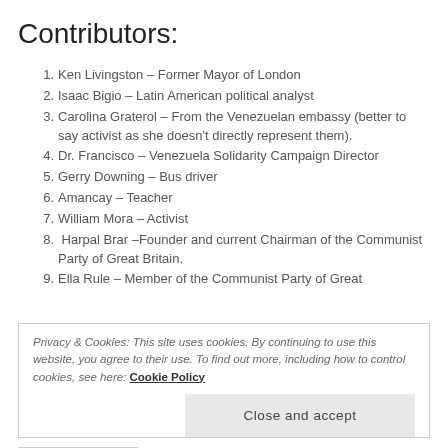Contributors:
Ken Livingston – Former Mayor of London
Isaac Bigio – Latin American political analyst
Carolina Graterol – From the Venezuelan embassy (better to say activist as she doesn't directly represent them).
Dr. Francisco – Venezuela Solidarity Campaign Director
Gerry Downing – Bus driver
Amancay – Teacher
William Mora – Activist
Harpal Brar –Founder and current Chairman of the Communist Party of Great Britain.
Ella Rule – Member of the Communist Party of Great
Privacy & Cookies: This site uses cookies. By continuing to use this website, you agree to their use. To find out more, including how to control cookies, see here: Cookie Policy
Close and accept